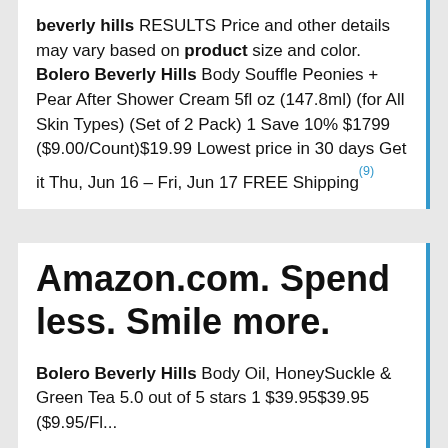beverly hills RESULTS Price and other details may vary based on product size and color. Bolero Beverly Hills Body Souffle Peonies + Pear After Shower Cream 5fl oz (147.8ml) (for All Skin Types) (Set of 2 Pack) 1 Save 10% $1799 ($9.00/Count)$19.99 Lowest price in 30 days Get it Thu, Jun 16 – Fri, Jun 17 FREE Shipping(9)
Amazon.com. Spend less. Smile more.
Bolero Beverly Hills Body Oil, HoneySuckle & Green Tea 5.0 out of 5 stars 1 $39.95$39.95 ($9.95/Fl...